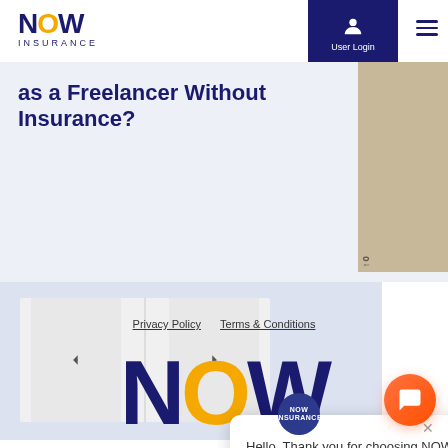[Figure (logo): NOW Insurance logo with bold dark blue NOW text, orange O, and INSURANCE below in spaced caps]
[Figure (screenshot): User Login button in dark navy background with person icon, top right navigation area]
as a Freelancer Without Insurance?
[Figure (photo): Beige/tan colored image block on right side, partially visible]
[Figure (screenshot): Carousel navigation with left and right arrow buttons on light blue/gray background]
[Figure (logo): NOW Insurance round badge logo in dark navy blue circle]
Hello, Thank you for choosing NOW Insurance!
Privacy Policy   Terms & Conditions
[Figure (logo): Large NOW Insurance logo letters at bottom of page, dark blue with orange O]
[Figure (screenshot): Orange gradient chat FAB button bottom right corner]